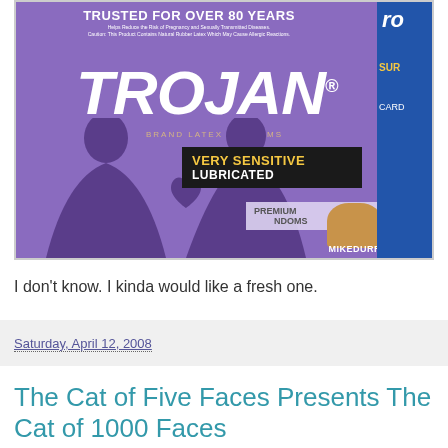[Figure (photo): Photo of a purple Trojan brand latex condoms box. The box reads 'TRUSTED FOR OVER 80 YEARS', 'TROJAN BRAND LATEX CONDOMS', 'VERY SENSITIVE LUBRICATED', 'PREMIUM CONDOMS', with a couple silhouette and a thumb holding the box. Watermark reads MIKEDURRETT.COM]
I don't know. I kinda would like a fresh one.
Saturday, April 12, 2008
The Cat of Five Faces Presents The Cat of 1000 Faces